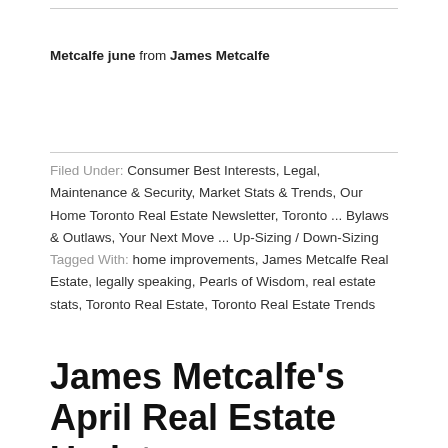Metcalfe june from James Metcalfe
Filed Under: Consumer Best Interests, Legal, Maintenance & Security, Market Stats & Trends, Our Home Toronto Real Estate Newsletter, Toronto ... Bylaws & Outlaws, Your Next Move ... Up-Sizing / Down-Sizing
Tagged With: home improvements, James Metcalfe Real Estate, legally speaking, Pearls of Wisdom, real estate stats, Toronto Real Estate, Toronto Real Estate Trends
James Metcalfe's April Real Estate Update